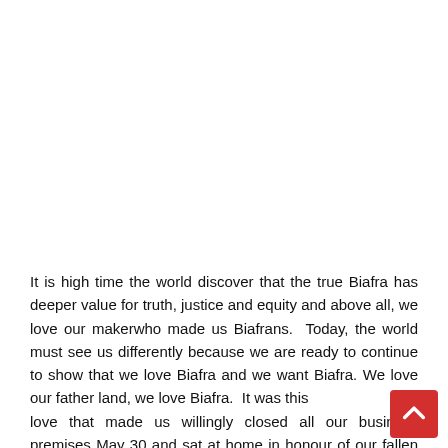It is high time the world discover that the true Biafra has deeper value for truth, justice and equity and above all, we love our makerwho made us Biafrans.  Today, the world must see us differently because we are ready to continue to show that we love Biafra and we want Biafra. We love our father land, we love Biafra.  It was this love that made us willingly closed all our business premises May 30 and sat at home in honour of our fallen heroes and to